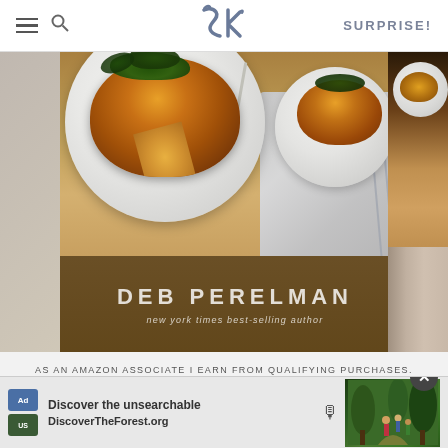SK logo header with hamburger menu, search icon, and SURPRISE! navigation
[Figure (photo): Book cover for Smitten Kitchen cookbook by Deb Perelman, new york times best-selling author, showing potato frittata on a white plate with arugula greens, displayed as a 3D book with front cover and spine visible]
AS AN AMAZON ASSOCIATE I EARN FROM QUALIFYING PURCHASES.
©2009–2022 SMITTEN KITCHEN. PROUDLY POWERED BY WORDPRESS. HOSTED BY PRESSABLE.
[Figure (screenshot): Ad banner: Discover the unsearchable / DiscoverTheForest.org with forest photo and close button]